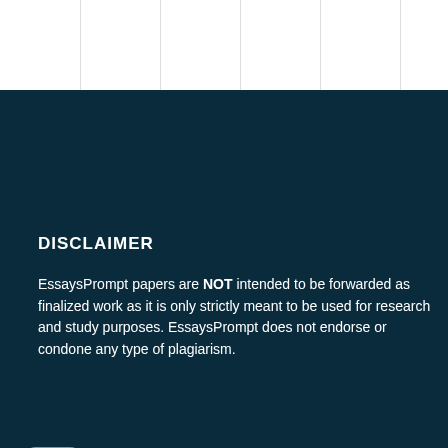DISCLAIMER
EssaysPrompt papers are NOT intended to be forwarded as finalized work as it is only strictly meant to be used for research and study purposes. EssaysPrompt does not endorse or condone any type of plagiarism.
AL
ND POLICY